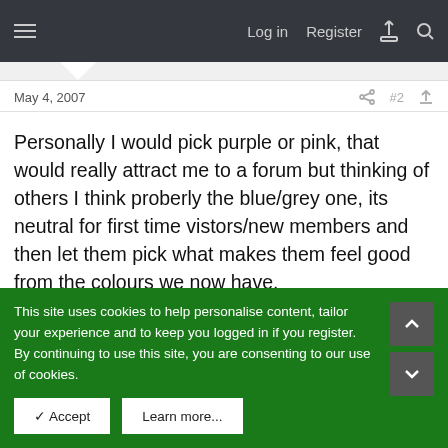Log in  Register
May 4, 2007
Personally I would pick purple or pink, that would really attract me to a forum but thinking of others I think proberly the blue/grey one, its neutral for first time vistors/new members and then let them pick what makes them feel good from the colours we now have.
Last edited: May 4, 2007
poohbear
Member
This site uses cookies to help personalise content, tailor your experience and to keep you logged in if you register.
By continuing to use this site, you are consenting to our use of cookies.